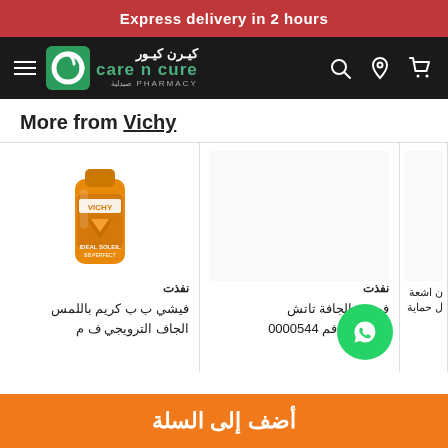Express delivery in 2 hours
[Figure (screenshot): Care N Cure Pharmacy logo and navigation bar with hamburger menu, search, location, and cart icons]
More from Vichy
[Figure (photo): Vichy Ideal Soleil BB cream tube product image]
نفذت
فيشي ب ب كريم باللمس الجاف الترويجي ف م
نفذت
فيشي الجافة تاتش الترويجي فم 0000544
ن اشعة ل حماية
أضف إلى السلة